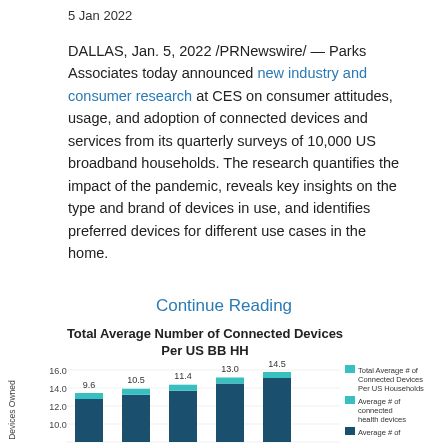5 Jan 2022
DALLAS, Jan. 5, 2022 /PRNewswire/ — Parks Associates today announced new industry and consumer research at CES on consumer attitudes, usage, and adoption of connected devices and services from its quarterly surveys of 10,000 US broadband households. The research quantifies the impact of the pandemic, reveals key insights on the type and brand of devices in use, and identifies preferred devices for different use cases in the home.
Continue Reading
[Figure (stacked-bar-chart): Total Average Number of Connected Devices Per US BB HH]